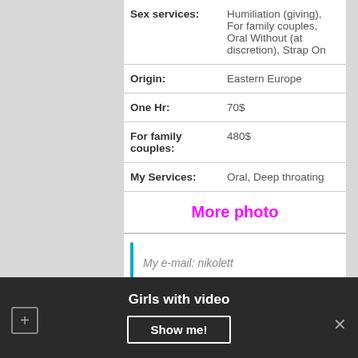| Sex services: | Humiliation (giving), For family couples, Oral Without (at discretion), Strap On |
| Origin: | Eastern Europe |
| One Hr: | 70$ |
| For family couples: | 480$ |
| My Services: | Oral, Deep throating |
More photo
My e-mail: nikolett
Girls with video
Show me!